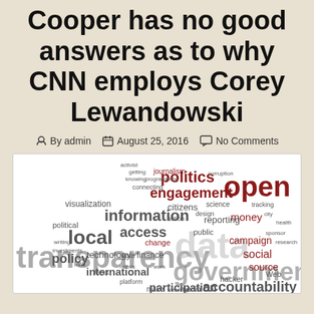Cooper has no good answers as to why CNN employs Corey Lewandowski
By admin  August 25, 2016  No Comments
[Figure (infographic): Word cloud featuring terms like transparency, data, government, open, politics, engagement, information, local, access, accountability, participation, policy, international, technology, social, campaign, source, money, reporting, citizens, finance, public]